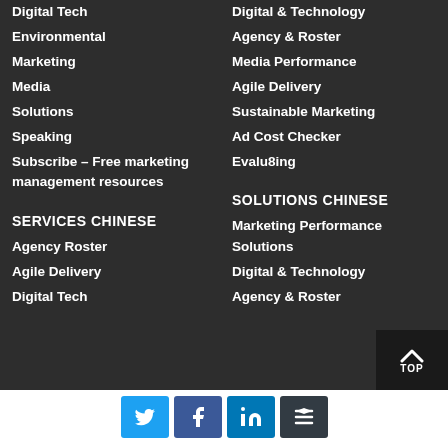Digital Tech
Environmental
Marketing
Media
Solutions
Speaking
Subscribe – Free marketing management resources
SERVICES CHINESE
Agency Roster
Agile Delivery
Digital Tech
Digital & Technology
Agency & Roster
Media Performance
Agile Delivery
Sustainable Marketing
Ad Cost Checker
Evalu8ing
SOLUTIONS CHINESE
Marketing Performance Solutions
Digital & Technology
Agency & Roster